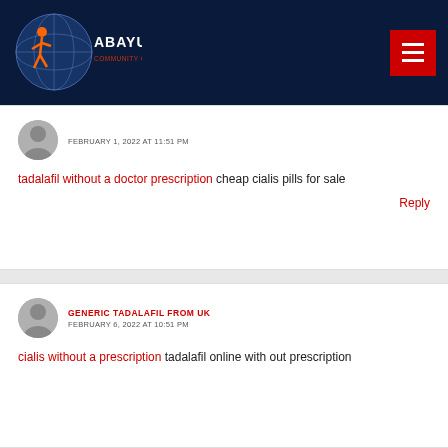Abayuuti Community Group
FEBRUARY 1, 2022 AT 11:51 PM
tadalafil without a doctor prescription cheap cialis pills for sale
Reply
GENERIC TADALAFIL FROM UK
FEBRUARY 6, 2022 AT 10:51 PM
cialis without a prescription tadalafil online with out prescription